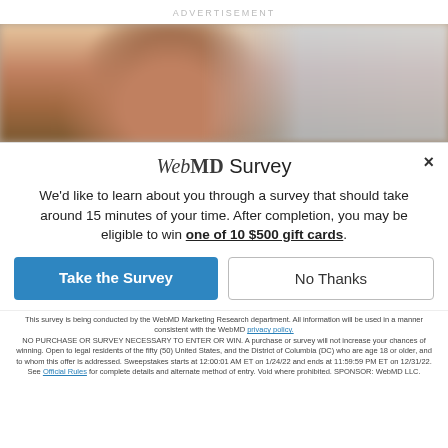ADVERTISEMENT
[Figure (photo): Blurred close-up photo of a man's face, appearing to be in a medical or office setting with blurred background shelving on the right.]
WebMD Survey
We'd like to learn about you through a survey that should take around 15 minutes of your time. After completion, you may be eligible to win one of 10 $500 gift cards.
Take the Survey
No Thanks
This survey is being conducted by the WebMD Marketing Research department. All information will be used in a manner consistent with the WebMD privacy policy. NO PURCHASE OR SURVEY NECESSARY TO ENTER OR WIN. A purchase or survey will not increase your chances of winning. Open to legal residents of the fifty (50) United States, and the District of Columbia (DC) who are age 18 or older, and to whom this offer is addressed. Sweepstakes starts at 12:00:01 AM ET on 1/24/22 and ends at 11:59:59 PM ET on 12/31/22. See Official Rules for complete details and alternate method of entry. Void where prohibited. SPONSOR: WebMD LLC.